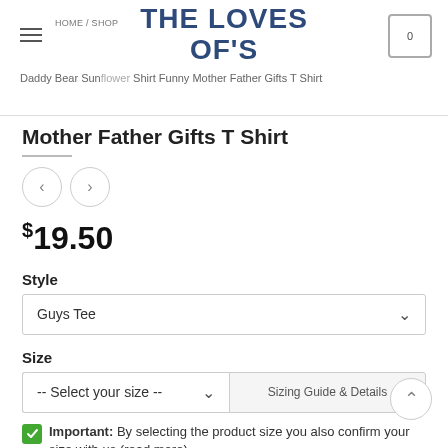THE LOVES OF'S
HOME / SHOP
Daddy Bear Sunflower Shirt Funny Mother Father Gifts T Shirt
Mother Father Gifts T Shirt
$19.50
Style
Guys Tee
Size
-- Select your size --
Sizing Guide & Details
Important: By selecting the product size you also confirm your size with us (read more)
Shipping rates table (read more)
Have a question about the size? Do not hesitate to...